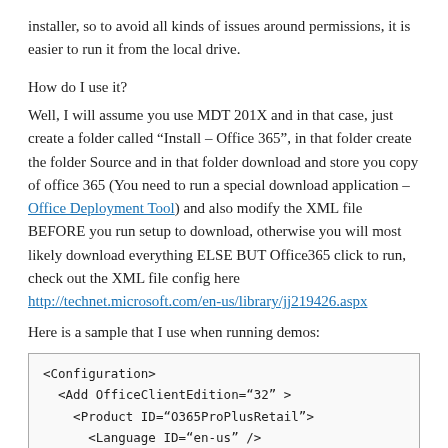installer, so to avoid all kinds of issues around permissions, it is easier to run it from the local drive.
How do I use it?
Well, I will assume you use MDT 201X and in that case, just create a folder called “Install – Office 365”, in that folder create the folder Source and in that folder download and store you copy of office 365 (You need to run a special download application – Office Deployment Tool) and also modify the XML file BEFORE you run setup to download, otherwise you will most likely download everything ELSE BUT Office365 click to run, check out the XML file config here http://technet.microsoft.com/en-us/library/jj219426.aspx
Here is a sample that I use when running demos:
[Figure (screenshot): XML code block showing Configuration with Add OfficeClientEdition=32, Product ID=O365ProPlusRetail with Language ID=en-us, Product ID=VisioProRetail with Language ID=en-us, and /Add closing tag.]